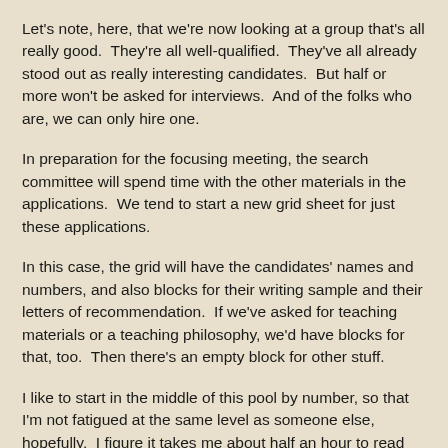Let's note, here, that we're now looking at a group that's all really good.  They're all well-qualified.  They've all already stood out as really interesting candidates.  But half or more won't be asked for interviews.  And of the folks who are, we can only hire one.
In preparation for the focusing meeting, the search committee will spend time with the other materials in the applications.  We tend to start a new grid sheet for just these applications.
In this case, the grid will have the candidates' names and numbers, and also blocks for their writing sample and their letters of recommendation.  If we've asked for teaching materials or a teaching philosophy, we'd have blocks for that, too.  Then there's an empty block for other stuff.
I like to start in the middle of this pool by number, so that I'm not fatigued at the same level as someone else, hopefully.  I figure it takes me about half an hour to read the writing sample and letters of recommendation, and write my notes for any one candidate.   That means this is a substantial time